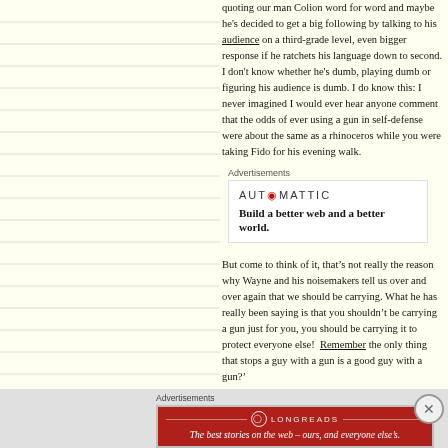quoting our man Colion word for word and maybe he's decided to get a big following by talking to his audience on a third-grade level, even bigger response if he ratchets his language down to second. I don't know whether he's dumb, playing dumb or figuring his audience is dumb. I do know this: I never imagined I would ever hear anyone comment that the odds of ever using a gun in self-defense were about the same as a rhinoceros while you were taking Fido for his evening walk.
[Figure (other): Automattic advertisement: logo reads 'AUT⊙MATTIC' and tagline 'Build a better web and a better world.']
But come to think of it, that's not really the reason why Wayne and his noisemakers tell us over and over again that we should be carrying. What he has really been saying is that you shouldn't be carrying a gun just for you, you should be carrying it to protect everyone else! Remember the only thing that stops a guy with a gun is a good guy with a gun?'
Colion my man, it's refreshing to see someone from the 'other side' actually saying something that's based on a bit of the tr...
[Figure (other): Longreads advertisement: red banner with logo and tagline 'The best stories on the web – ours, and everyone else's.']